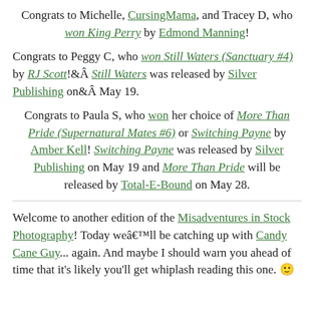Congrats to Michelle, CursingMama, and Tracey D, who won King Perry by Edmond Manning!
Congrats to Peggy C, who won Still Waters (Sanctuary #4) by RJ Scott! Still Waters was released by Silver Publishing on May 19.
Congrats to Paula S, who won her choice of More Than Pride (Supernatural Mates #6) or Switching Payne by Amber Kell! Switching Payne was released by Silver Publishing on May 19 and More Than Pride will be released by Total-E-Bound on May 28.
Welcome to another edition of the Misadventures in Stock Photography! Today we'll be catching up with Candy Cane Guy... again. And maybe I should warn you ahead of time that it's likely you'll get whiplash reading this one. 🙂